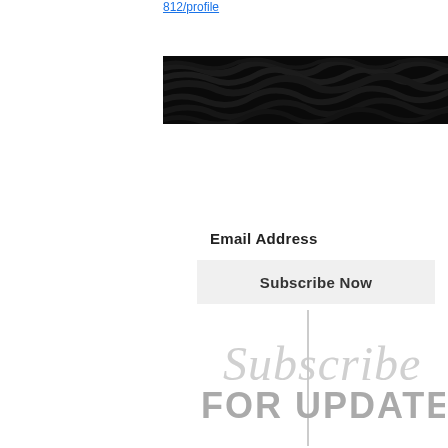812/profile
[Figure (photo): Dark black textured banner image with zebra-like wave pattern]
Email Address
Subscribe Now
[Figure (illustration): Subscribe for Updates decorative graphic with cursive script 'Subscribe' and bold 'FOR UPDATES' text, with a vertical line dividing the image]